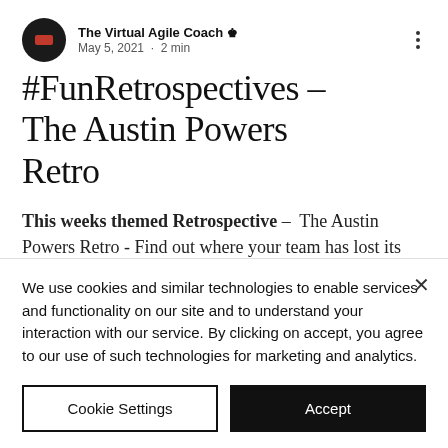The Virtual Agile Coach 👑
May 5, 2021 · 2 min
#FunRetrospectives - The Austin Powers Retro
This weeks themed Retrospective – The Austin Powers Retro - Find out where your team has lost its mojo!
We use cookies and similar technologies to enable services and functionality on our site and to understand your interaction with our service. By clicking on accept, you agree to our use of such technologies for marketing and analytics.